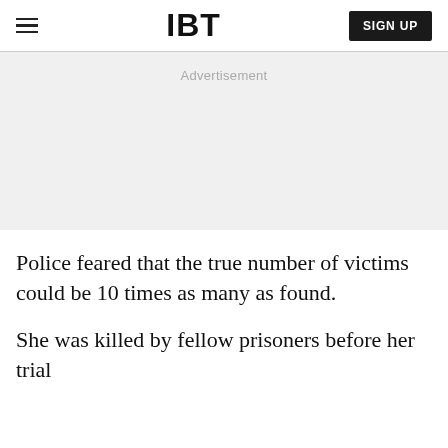IBT
[Figure (other): Advertisement placeholder area with light gray background and 'Advertisement' label]
Police feared that the true number of victims could be 10 times as many as found.
She was killed by fellow prisoners before her trial